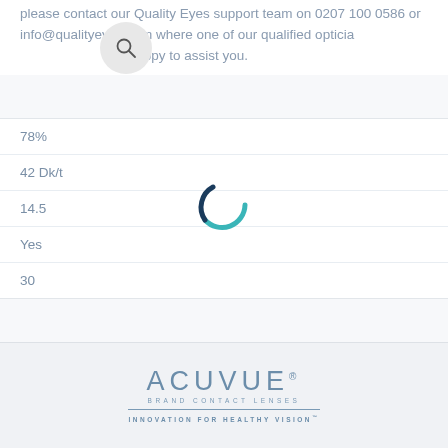please contact our Quality Eyes support team on 0207 100 0586 or info@qualityeyes.com where one of our qualified opticians will be happy to assist you.
| 78% |
| 42 Dk/t |
| 14.5 |
| Yes |
| 30 |
[Figure (other): Loading spinner — partial arc in teal/dark teal indicating page loading state]
[Figure (logo): ACUVUE brand contact lenses logo with tagline INNOVATION FOR HEALTHY VISION]